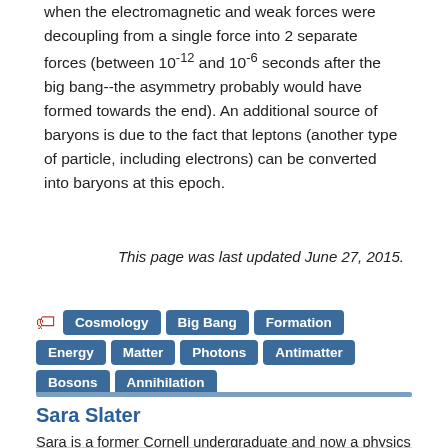when the electromagnetic and weak forces were decoupling from a single force into 2 separate forces (between 10^-12 and 10^-6 seconds after the big bang--the asymmetry probably would have formed towards the end). An additional source of baryons is due to the fact that leptons (another type of particle, including electrons) can be converted into baryons at this epoch.
This page was last updated June 27, 2015.
Cosmology
Big Bang
Formation
Energy
Matter
Photons
Antimatter
Bosons
Annihilation
Sara Slater
Sara is a former Cornell undergraduate and now a physics graduate student at Harvard University, where she works on cosmology and particle physics.